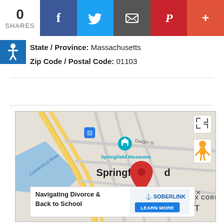0 SHARES | Facebook | Twitter | Email | Pinterest | More
State / Province: Massachusetts
Zip Code / Postal Code: 01103
[Figure (map): Google Maps view of Springfield, MA showing Connecticut River, Dwight St, Main St, Maple St, Springfield Museums marker, SIX CORN label, and a red location pin on Springfield. Includes Street View pegman icon, expand button, and an advertisement overlay for 'Navigating Divorce & Back to School' by SOBERLINK with LEARN MORE button.]